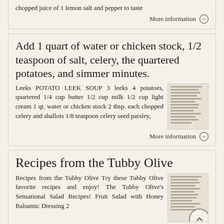chopped juice of 1 lemon salt and pepper to taste
More information →
Add 1 quart of water or chicken stock, 1/2 teaspoon of salt, celery, the quartered potatoes, and simmer minutes.
Leeks POTATO LEEK SOUP 3 leeks 4 potatoes, quartered 1/4 cup butter 1/2 cup milk 1/2 cup light cream 1 qt. water or chicken stock 2 tbsp. each chopped celery and shallots 1/8 teaspoon celery seed parsley,
[Figure (screenshot): Thumbnail of a recipe document with text lines]
More information →
Recipes from the Tubby Olive
Recipes from the Tubby Olive Try these Tubby Olive favorite recipes and enjoy! The Tubby Olive's Sensational Salad Recipes! Fruit Salad with Honey Balsamic Dressing 2
[Figure (screenshot): Thumbnail of a recipe document with text lines]